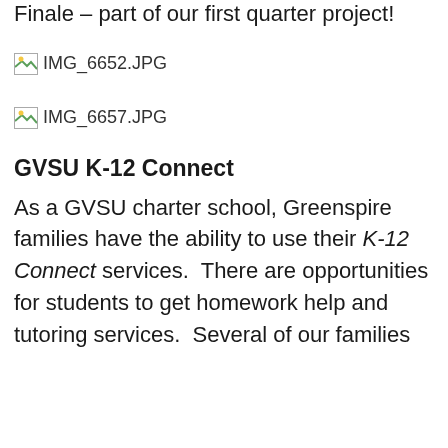Finale – part of our first quarter project!
[Figure (photo): IMG_6652.JPG placeholder image icon with filename label]
[Figure (photo): IMG_6657.JPG placeholder image icon with filename label]
GVSU K-12 Connect
As a GVSU charter school, Greenspire families have the ability to use their K-12 Connect services.  There are opportunities for students to get homework help and tutoring services.  Several of our families